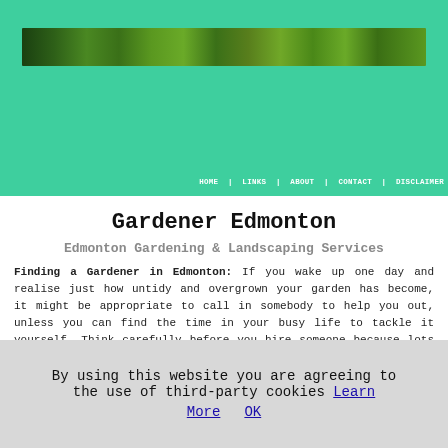[Figure (photo): Narrow banner photo showing garden/greenery scene with trees and plants]
HOME | LINKS | ABOUT | CONTACT | DISCLAIMER
Gardener Edmonton
Edmonton Gardening & Landscaping Services
Finding a Gardener in Edmonton: If you wake up one day and realise just how untidy and overgrown your garden has become, it might be appropriate to call in somebody to help you out, unless you can find the time in your busy life to tackle it yourself. Think carefully before you hire someone because lots of people in Edmonton do gardening, some are
By using this website you are agreeing to the use of third-party cookies Learn More OK